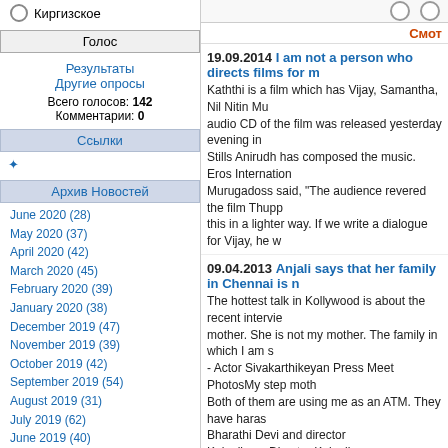Киргизское
Голос
Результаты
Другие опросы
Всего голосов: 142
Комментарии: 0
Ссылки
Архив Новостей
June 2020 (28)
May 2020 (37)
April 2020 (42)
March 2020 (45)
February 2020 (39)
January 2020 (38)
December 2019 (47)
November 2019 (39)
October 2019 (42)
September 2019 (54)
August 2019 (31)
July 2019 (62)
June 2019 (40)
May 2019 (40)
April 2019 (44)
March 2019 (36)
February 2019 (31)
January 2019 (38)
December 2018 (44)
November 2018 (43)
Смот
19.09.2014 I am not a person who directs films for m
Kaththi is a film which has Vijay, Samantha, Nil Nitin Mu
audio CD of the film was released yesterday evening in
Stills Anirudh has composed the music. Eros Internation
Murugadoss said, "The audience revered the film Thupp
this in a lighter way. If we write a dialogue for Vijay, he w
09.04.2013 Anjali says that her family in Chennai is n
The hottest talk in Kollywood is about the recent intervie
mother. She is not my mother. The family in which I am s
- Actor Sivakarthikeyan Press Meet PhotosMy step moth
Both of them are using me as an ATM. They have haras
Bharathi Devi and director Kalanjiyam.Director Kalanjiya
11.08.2010 Top art-house films for Autumn 2010
David Gritten gives a sneak preview of three films to loo
27.08.2010 Carey Mulligan May Join Nicolas Winding
With each step closer to production, the movie Drive be
Pusher) movie with Ryan Gosling starring. Then Breakin
similar to Carey Mulligan will be the womanlike lead whe
news, and summarizes the ...
30.12.2010 Sneha says that Thenmerku Paruva Katr
Sneha after seeing the film Thenmerku Paruva Katru be
Vasundhara for their excellent performance. Sneha whil
control my tears. After a long time I got the satisfaction o
this film. Seenu Ramasamy is to be appreciated very mu
shepherd and a girl from a thief family. Right from the ti